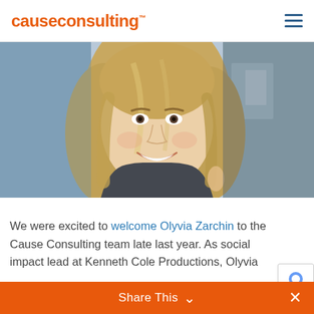causeconsulting™
[Figure (photo): Portrait photo of Olyvia Zarchin, a smiling woman with long blonde hair, cropped to show face and shoulders in an office setting.]
We were excited to welcome Olyvia Zarchin to the Cause Consulting team late last year. As social impact lead at Kenneth Cole Productions, Olyvia
Share This ∨ ✕